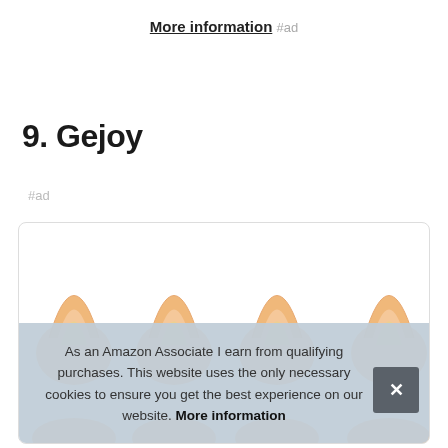More information #ad
9. Gejoy
#ad
[Figure (photo): Product image of Gejoy elf ears, showing four pairs of light skin-toned pointed elf ears arranged in a row]
As an Amazon Associate I earn from qualifying purchases. This website uses the only necessary cookies to ensure you get the best experience on our website. More information